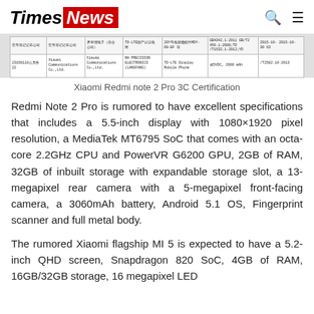Times News
[Figure (table-as-image): Xiaomi Redmi note 2 Pro 3C Certification document showing Chinese regulatory certification table with columns for applicant, manufacturer, model, standard, and certification dates.]
Xiaomi Redmi note 2 Pro 3C Certification
Redmi Note 2 Pro is rumored to have excellent specifications that includes a 5.5-inch display with 1080×1920 pixel resolution, a MediaTek MT6795 SoC that comes with an octa-core 2.2GHz CPU and PowerVR G6200 GPU, 2GB of RAM, 32GB of inbuilt storage with expandable storage slot, a 13-megapixel rear camera with a 5-megapixel front-facing camera, a 3060mAh battery, Android 5.1 OS, Fingerprint scanner and full metal body.
The rumored Xiaomi flagship MI 5 is expected to have a 5.2-inch QHD screen, Snapdragon 820 SoC, 4GB of RAM, 16GB/32GB storage, 16 megapixel LED